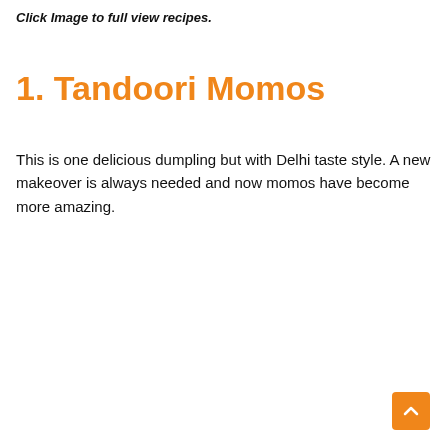Click Image to full view recipes.
1. Tandoori Momos
This is one delicious dumpling but with Delhi taste style. A new makeover is always needed and now momos have become more amazing.